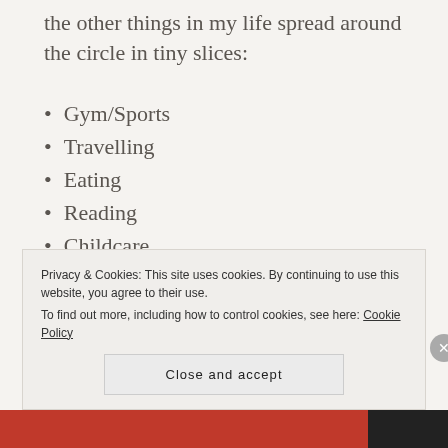the other things in my life spread around the circle in tiny slices:
Gym/Sports
Travelling
Eating
Reading
Childcare
Bathroom
Sex
Privacy & Cookies: This site uses cookies. By continuing to use this website, you agree to their use. To find out more, including how to control cookies, see here: Cookie Policy
Close and accept